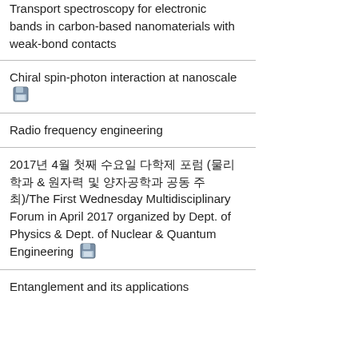Transport spectroscopy for electronic bands in carbon-based nanomaterials with weak-bond contacts
Chiral spin-photon interaction at nanoscale
Radio frequency engineering
2017년 4월 첫째 수요일 다학제 포럼 (물리학과 & 원자력 및 양자공학과 공동 주최)/The First Wednesday Multidisciplinary Forum in April 2017 organized by Dept. of Physics & Dept. of Nuclear & Quantum Engineering
Entanglement and its applications